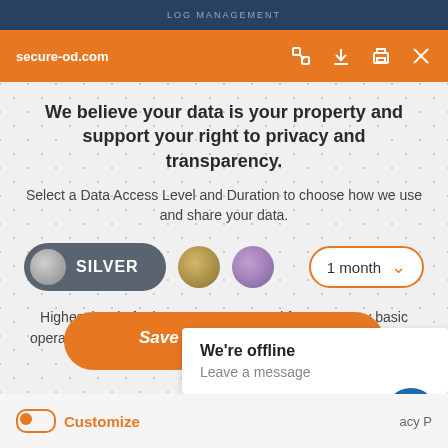LOG MANAGEMENT
secure-od.com
We believe your data is your property and support your right to privacy and transparency.
Select a Data Access Level and Duration to choose how we use and share your data.
[Figure (infographic): Three data access level selectors: Silver pill toggle (selected), Gold circle, Purple circle, and a 1 month duration dropdown]
Highest level of privacy. Data accessed for necessary basic operations only. Data shared with 3rd parties to ensure the site is secure and works on your device
Save my preferences
We're offline
Leave a message
Customize   acy P